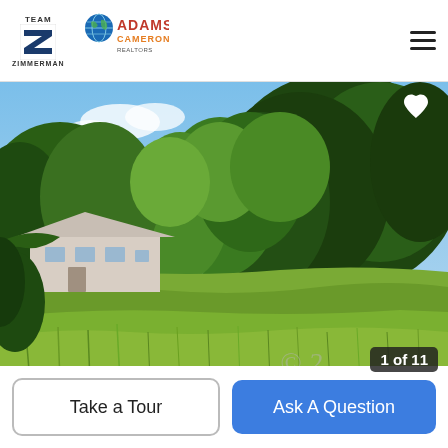Team Zimmerman | Adams Cameron
[Figure (photo): Outdoor real estate photo showing an overgrown grassy field in the foreground with dense green trees in the background and a white house/mobile home partially visible on the left side. Sky is blue with light clouds. Heart/favorite icon visible top right. Photo counter shows 1 of 11.]
Take a Tour
Ask A Question